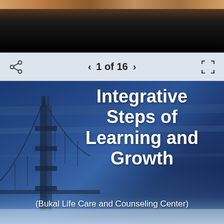[Figure (photo): Dark photograph bar at the top of the page, partially cropped, showing warm tones at top fading to black]
1 of 16
[Figure (photo): Presentation slide cover with a blue-toned suspension bridge (Golden Gate style) in the background, titled 'Integrative Steps of Learning and Growth' by Bukal Life Care and Counseling Center]